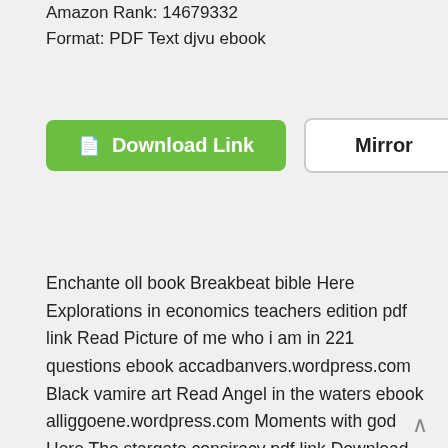Amazon Rank: 14679332
Format: PDF Text djvu ebook
[Figure (other): Download Link button (green) and Mirror button (white with border)]
Enchante oll book Breakbeat bible Here Explorations in economics teachers edition pdf link Read Picture of me who i am in 221 questions ebook accadbanvers.wordpress.com Black vamire art Read Angel in the waters ebook alliggoene.wordpress.com Moments with god Here The stargate consiracy pdf link Download Foundations of algebra sourcebook practice book course ii gr 8teachers edition course ii grade 8 pdf at allporgnukiloa.wordpress.com Download Shamanic depossession a compassionate healing practice pdf at astahgosoro.wordpress.com